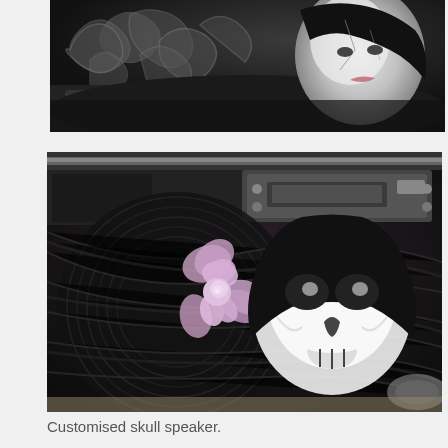[Figure (photo): Close-up photograph of a custom airbrushed motorcycle tank featuring ornate fleur-de-lis and scroll designs in grey on black, with a female face with cracked porcelain makeup painted on the right side.]
[Figure (photo): Close-up photograph of a custom airbrushed motorcycle speaker/saddlebag panel featuring a skull-faced woman with long black hair and a pink rose, with Harley-Davidson branding hardware visible.]
Customised skull speaker.